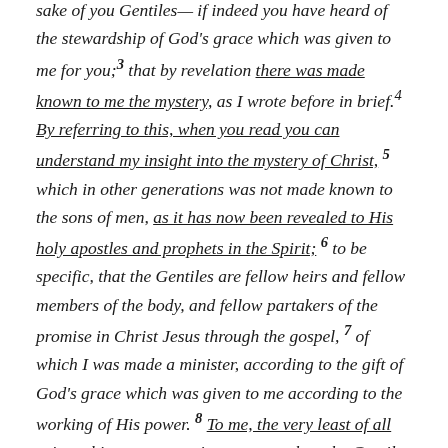sake of you Gentiles— if indeed you have heard of the stewardship of God's grace which was given to me for you; 3 that by revelation there was made known to me the mystery, as I wrote before in brief. 4 By referring to this, when you read you can understand my insight into the mystery of Christ, 5 which in other generations was not made known to the sons of men, as it has now been revealed to His holy apostles and prophets in the Spirit; 6 to be specific, that the Gentiles are fellow heirs and fellow members of the body, and fellow partakers of the promise in Christ Jesus through the gospel, 7 of which I was made a minister, according to the gift of God's grace which was given to me according to the working of His power. 8 To me, the very least of all saints, this grace was given, to preach to the Gentiles the unfathomable riches of Christ, 9 and to bring to light what is the administration of